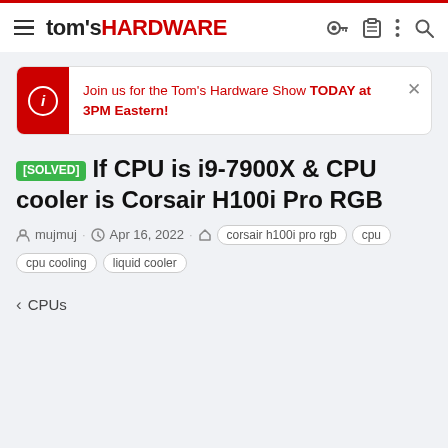tom's HARDWARE
Join us for the Tom's Hardware Show TODAY at 3PM Eastern!
[SOLVED] If CPU is i9-7900X & CPU cooler is Corsair H100i Pro RGB
mujmuj · Apr 16, 2022 · corsair h100i pro rgb  cpu  cpu cooling  liquid cooler
< CPUs